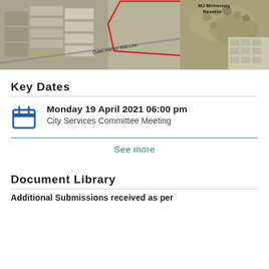[Figure (map): Aerial/satellite map view showing MJ McInerney Reserve area and Outer Harbor Rail Line, with a red-outlined polygon highlighting a site.]
Key Dates
Monday 19 April 2021 06:00 pm
City Services Committee Meeting
See more
Document Library
Additional Submissions received as per